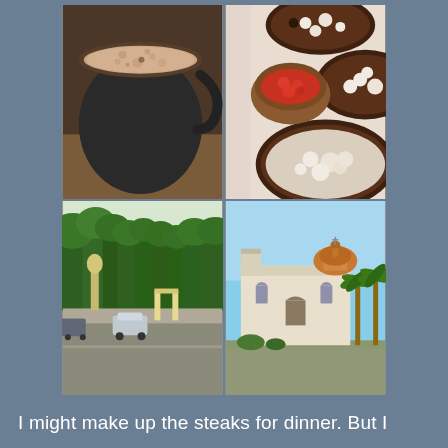[Figure (photo): A dark ceramic mug filled with frothy hot chocolate or latte, viewed from above at a slight angle, resting on a wooden surface.]
[Figure (photo): Mexican food: several tlayudas or enfrijoladas topped with crumbled white cheese, with a clay bowl of salsa roja in the center.]
[Figure (photo): An outdoor street scene with green trees, a white statue on a pedestal, parked cars, and what appears to be a park or plaza entrance.]
[Figure (photo): A white colonial church or cathedral building with a dome, palm trees in the foreground, and blue sky. Appears to be in Mexico (Oaxaca).]
I might make up the steaks for dinner. But I